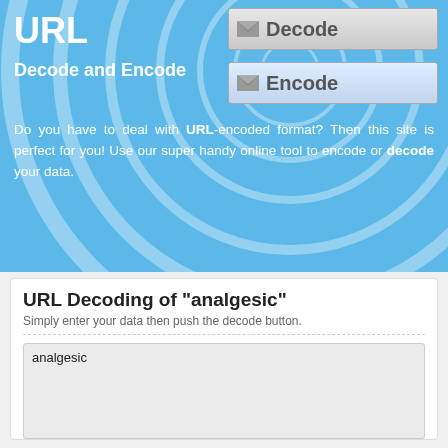URL
Decode and Encode
[Figure (other): Blue circular spiral decorative background graphic]
Do you have to deal with URL-encoded format? Then this site is perfect for you! Use our super handy online tool to encode or decode your data.
URL Decoding of "analgesic"
Simply enter your data then push the decode button.
analgesic